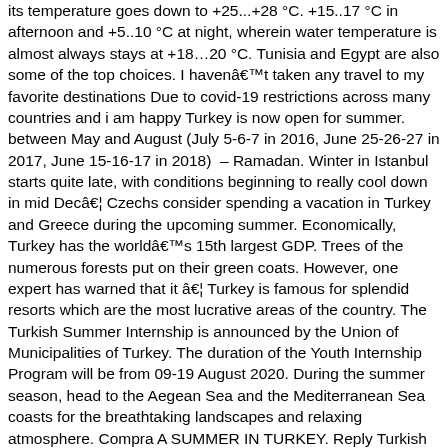its temperature goes down to +25...+28 °C. +15..17 °C in afternoon and +5..10 °C at night, wherein water temperature is almost always stays at +18…20 °C. Tunisia and Egypt are also some of the top choices. I haven't taken any travel to my favorite destinations Due to covid-19 restrictions across many countries and i am happy Turkey is now open for summer. between May and August (July 5-6-7 in 2016, June 25-26-27 in 2017, June 15-16-17 in 2018)  – Ramadan. Winter in Istanbul starts quite late, with conditions beginning to really cool down in mid Dec… Czechs consider spending a vacation in Turkey and Greece during the upcoming summer. Economically, Turkey has the world's 15th largest GDP. Trees of the numerous forests put on their green coats. However, one expert has warned that it â… Turkey is famous for splendid resorts which are the most lucrative areas of the country. The Turkish Summer Internship is announced by the Union of Municipalities of Turkey. The duration of the Youth Internship Program will be from 09-19 August 2020. During the summer season, head to the Aegean Sea and the Mediterranean Sea coasts for the breathtaking landscapes and relaxing atmosphere. Compra A SUMMER IN TURKEY. Reply Turkish cuisine is an incredible mixture of Central Asian, Middle Eastern, and Balkan cuisines. Summer in Turkey. And, the summer season in Turkey can linger, due to mild